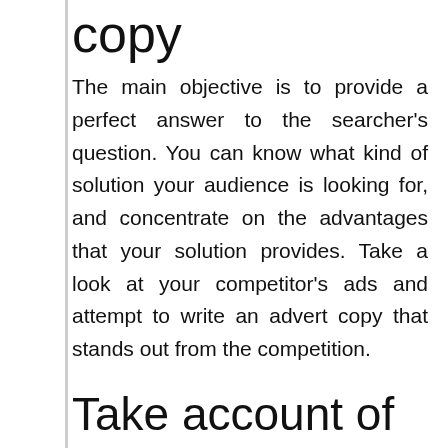copy
The main objective is to provide a perfect answer to the searcher’s question. You can know what kind of solution your audience is looking for, and concentrate on the advantages that your solution provides. Take a look at your competitor’s ads and attempt to write an advert copy that stands out from the competition.
Take account of your target keywords in your